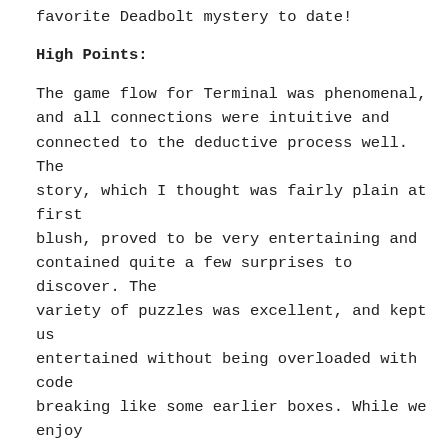favorite Deadbolt mystery to date!
High Points:
The game flow for Terminal was phenomenal, and all connections were intuitive and connected to the deductive process well. The story, which I thought was fairly plain at first blush, proved to be very entertaining and contained quite a few surprises to discover. The variety of puzzles was excellent, and kept us entertained without being overloaded with code breaking like some earlier boxes. While we enjoy the codes, the creative and varied interactions included with Terminal were a breath of fresh air. Online components work flawlessly and add an outstanding contribution to the overall experience.